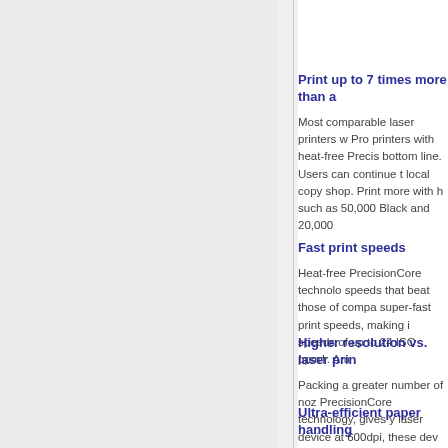Print up to 7 times more than a
Most comparable laser printers w Pro printers with heat-free Precis bottom line. Users can continue t local copy shop. Print more with h such as 50,000 Black and 20,000
Fast print speeds
Heat-free PrecisionCore technolo speeds that beat those of compa super-fast print speeds, making i speeds of up to 24 ISO ppm†. Am
Higher resolution vs. laser prin
Packing a greater number of noz PrecisionCore technology, gives y laser device at 600dpi, these dev requirements.
Ultra-efficient paper handling
With two additional trays, the Wo